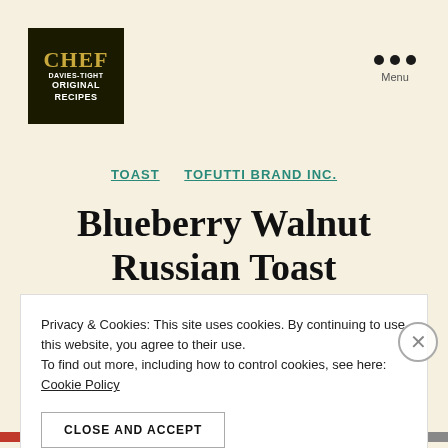[Figure (logo): Chef Davies-Tight Original Recipes logo: black background with gold CHEF text and white DAVIES-TIGHT ORIGINAL RECIPES text]
Menu
TOAST   TOFUTTI BRAND INC.
Blueberry Walnut Russian Toast
Privacy & Cookies: This site uses cookies. By continuing to use this website, you agree to their use.
To find out more, including how to control cookies, see here:
Cookie Policy
CLOSE AND ACCEPT